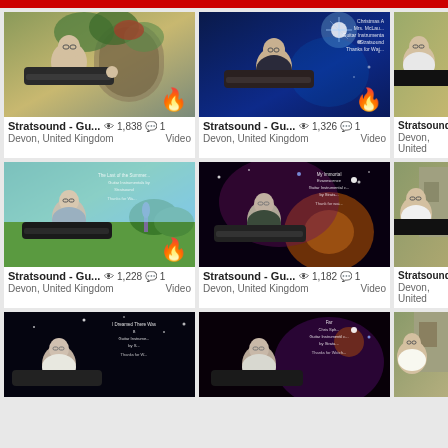[Figure (screenshot): YouTube channel page showing guitar video thumbnails for Stratsound channel from Devon, United Kingdom. Grid of video thumbnails with view counts and comment counts.]
Stratsound - Gu... 1,838 1 Devon, United Kingdom Video
Stratsound - Gu... 1,326 1 Devon, United Kingdom Video
Stratsound Devon, United
Stratsound - Gu... 1,228 1 Devon, United Kingdom Video
Stratsound - Gu... 1,182 1 Devon, United Kingdom Video
Stratsound Devon, United